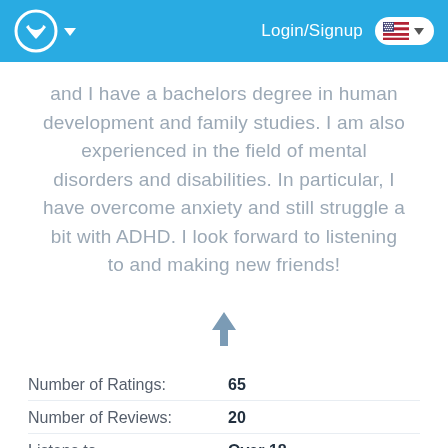Login/Signup
and I have a bachelors degree in human development and family studies. I am also experienced in the field of mental disorders and disabilities. In particular, I have overcome anxiety and still struggle a bit with ADHD. I look forward to listening to and making new friends!
Number of Ratings: 65
Number of Reviews: 20
Listens to Over 18
Languages English